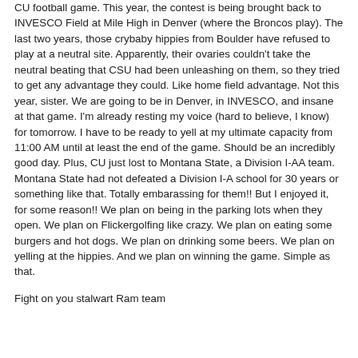CU football game. This year, the contest is being brought back to INVESCO Field at Mile High in Denver (where the Broncos play). The last two years, those crybaby hippies from Boulder have refused to play at a neutral site. Apparently, their ovaries couldn't take the neutral beating that CSU had been unleashing on them, so they tried to get any advantage they could. Like home field advantage. Not this year, sister. We are going to be in Denver, in INVESCO, and insane at that game. I'm already resting my voice (hard to believe, I know) for tomorrow. I have to be ready to yell at my ultimate capacity from 11:00 AM until at least the end of the game. Should be an incredibly good day. Plus, CU just lost to Montana State, a Division I-AA team. Montana State had not defeated a Division I-A school for 30 years or something like that. Totally embarassing for them!! But I enjoyed it, for some reason!! We plan on being in the parking lots when they open. We plan on Flickergolfing like crazy. We plan on eating some burgers and hot dogs. We plan on drinking some beers. We plan on yelling at the hippies. And we plan on winning the game. Simple as that.
Fight on you stalwart Ram team